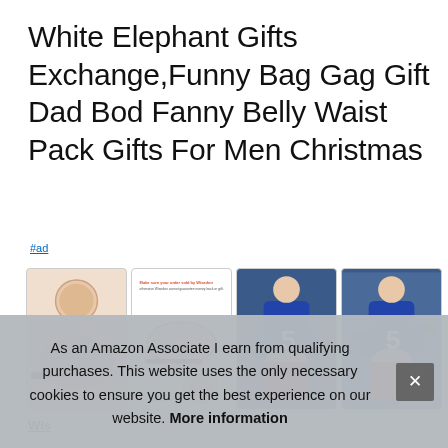White Elephant Gifts Exchange,Funny Bag Gag Gift Dad Bod Fanny Belly Waist Pack Gifts For Men Christmas
#ad
[Figure (photo): Four product images showing a dad bod belly fanny pack: 1) Close-up with '3D print' label on skin-textured pack, 2) Product layout with 'waterproof PU' label and text about Wisedon, 3) Man in blue jersey #5 holding weights wearing the belly pack, 4) Same man from different angle]
Wis
adju
too
loose, just right!. Friendly customer service, friendly after-sale
As an Amazon Associate I earn from qualifying purchases. This website uses the only necessary cookies to ensure you get the best experience on our website. More information